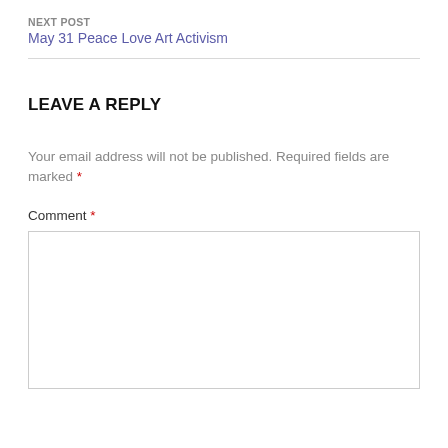NEXT POST
May 31 Peace Love Art Activism
LEAVE A REPLY
Your email address will not be published. Required fields are marked *
Comment *